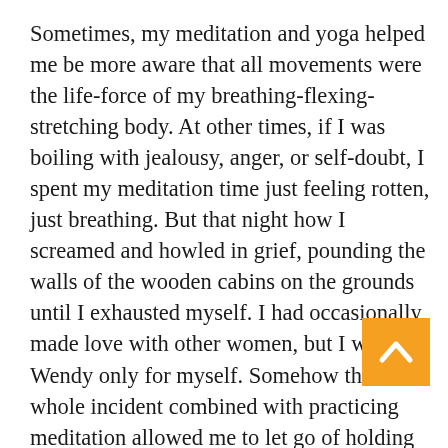Sometimes, my meditation and yoga helped me be more aware that all movements were the life-force of my breathing-flexing-stretching body. At other times, if I was boiling with jealousy, anger, or self-doubt, I spent my meditation time just feeling rotten, just breathing. But that night how I screamed and howled in grief, pounding the walls of the wooden cabins on the grounds until I exhausted myself. I had occasionally made love with other women, but I wanted Wendy only for myself. Somehow the whole incident combined with practicing meditation allowed me to let go of holding onto Wendy in that way. The next day I spoke with Sal and, after some words, some forgiveness, some sorrow, I spontaneously hugged him and Wendy. I realized that I had changed. Both Wendy and I had changed; we discovered our playing around was hurtful to the other and we were naturally faithful to each other for as long as we were married.

At some point in 1976, Wendy became uncomfortable and
[Figure (other): Orange back-to-top button with upward chevron arrow in bottom right corner]